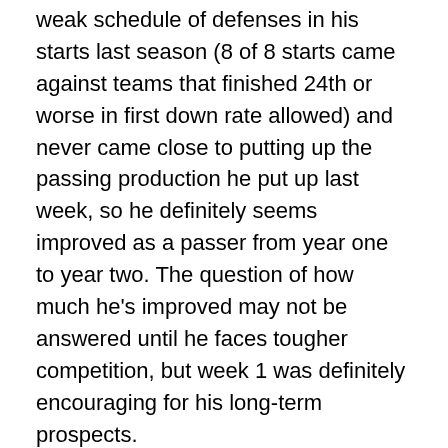weak schedule of defenses in his starts last season (8 of 8 starts came against teams that finished 24th or worse in first down rate allowed) and never came close to putting up the passing production he put up last week, so he definitely seems improved as a passer from year one to year two. The question of how much he's improved may not be answered until he faces tougher competition, but week 1 was definitely encouraging for his long-term prospects.
Jackson isn't really getting that tougher competition this week, with the Cardinals coming to Baltimore. Unlike the Dolphins, the Cardinals should be a somewhat competitive team this season, but they're still one of the worst teams in the league and they're missing their two starting cornerbacks Patrick Peterson and Robert Alford with suspension and injury respectively, so their defense isn't